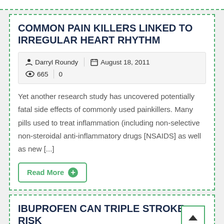COMMON PAIN KILLERS LINKED TO IRREGULAR HEART RHYTHM
Darryl Roundy | August 18, 2011 | 665  0
Yet another research study has uncovered potentially fatal side effects of commonly used painkillers. Many pills used to treat inflammation (including non-selective non-steroidal anti-inflammatory drugs [NSAIDS] as well as new [...]
Read More
IBUPROFEN CAN TRIPLE STROKE RISK